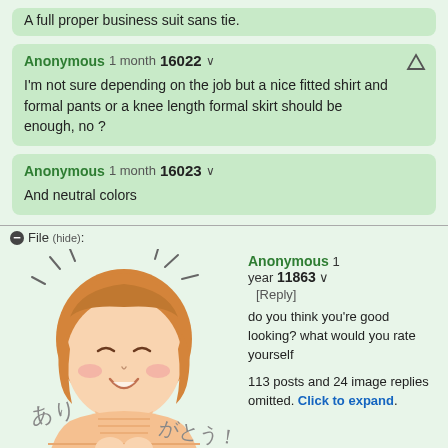A full proper business suit sans tie.
Anonymous 1 month 16022
I'm not sure depending on the job but a nice fitted shirt and formal pants or a knee length formal skirt should be enough, no ?
Anonymous 1 month 16023
And neutral colors
File (hide):
[Figure (illustration): Anime-style illustration of a smiling girl with short orange-brown hair wearing a striped turtleneck sweater, with Japanese text あり and がとう! around her, and motion lines indicating happiness]
Anonymous 1 year 11863 [Reply]
do you think you're good looking? what would you rate yourself
113 posts and 24 image replies omitted. Click to expand.